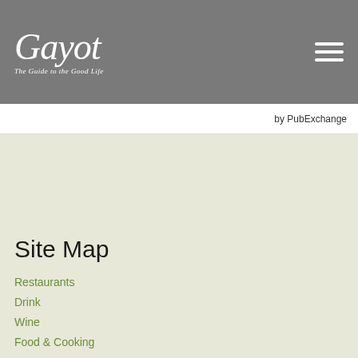Gayot — The Guide to the Good Life
by PubExchange
Site Map
Restaurants
Drink
Wine
Food & Cooking